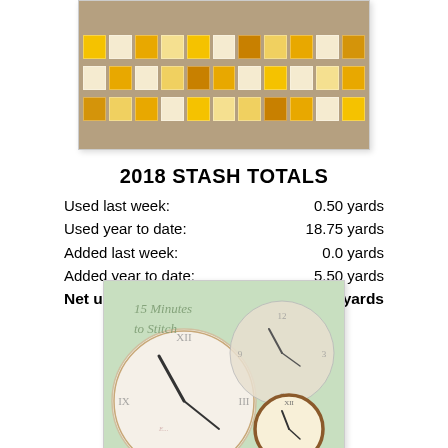[Figure (photo): Quilt photo showing yellow and gold patchwork squares on a tan/beige background fabric, partially cropped at top.]
2018 STASH TOTALS
| Used last week: | 0.50 yards |
| Used year to date: | 18.75 yards |
| Added last week: | 0.0 yards |
| Added year to date: | 5.50 yards |
| Net used year to date: | 13.25 yards |
[Figure (photo): Decorative image of multiple overlapping clock faces with '15 Minutes to Stitch' text on a light green vintage background.]